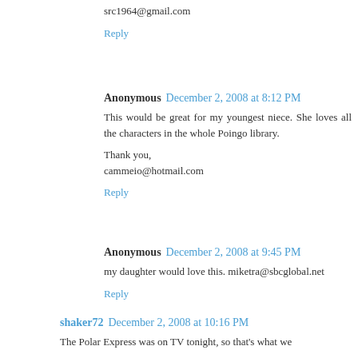src1964@gmail.com
Reply
Anonymous  December 2, 2008 at 8:12 PM
This would be great for my youngest niece. She loves all the characters in the whole Poingo library.

Thank you,
cammeio@hotmail.com
Reply
Anonymous  December 2, 2008 at 9:45 PM
my daughter would love this. miketra@sbcglobal.net
Reply
shaker72  December 2, 2008 at 10:16 PM
The Polar Express was on TV tonight, so that's what we